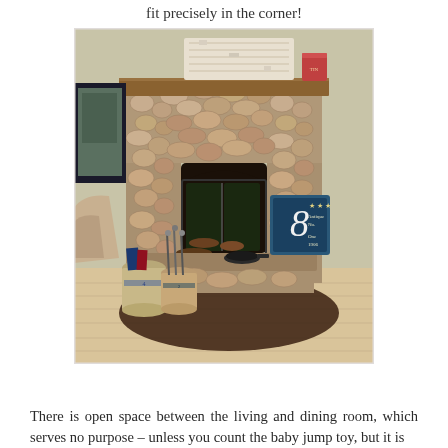fit precisely in the corner!
[Figure (photo): A rustic stone fireplace with a wooden mantel, decorative items on the mantel including a distressed white wood piece and tin cans. In front of the fireplace sits a bench, ceramic crocks with fireplace tools, a black cast iron skillet, and a decorative chalkboard sign. A cowhide rug lies on the hardwood floor in front. A tan armchair is visible to the left.]
There is open space between the living and dining room, which serves no purpose – unless you count the baby jump toy, but it is